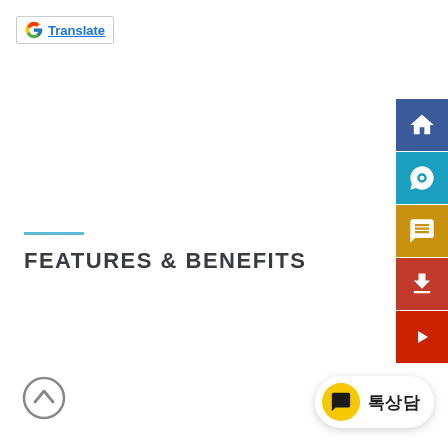[Figure (logo): Google Translate button with Google G logo and 'Translate' link text in blue, inside a bordered rectangle]
FEATURES & BENEFITS
[Figure (infographic): Right sidebar with 5 icon buttons: home (dark blue), headset/chat support (teal/blue), speech bubble/message (gold/yellow), download (red), YouTube play button (dark red)]
[Figure (infographic): Back to top circular arrow button (gray outline circle with up chevron)]
[Figure (infographic): 톡상담 (Talk Consultation) yellow circle chat bubble button with white text label on white pill-shaped background]